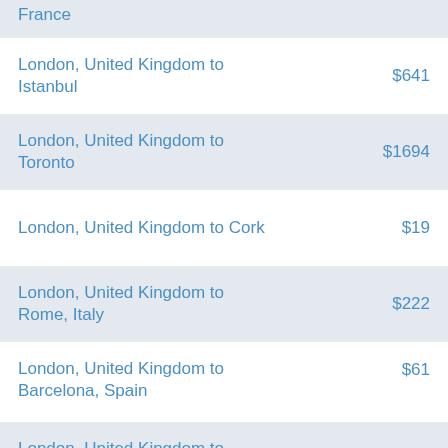France
London, United Kingdom to Istanbul  $641
London, United Kingdom to Toronto  $1694
London, United Kingdom to Cork  $19
London, United Kingdom to Rome, Italy  $222
London, United Kingdom to Barcelona, Spain  $61
London, United Kingdom to Amsterdam  $136
London, United Kingdom to Dubai  $319